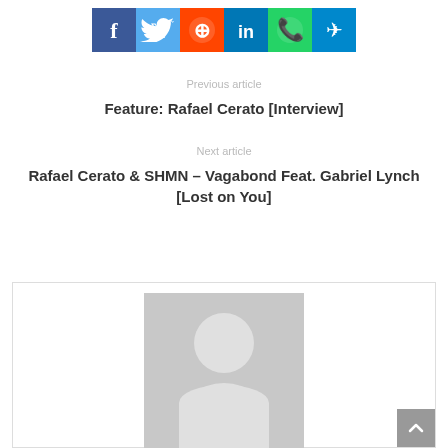[Figure (infographic): Social media share buttons: Facebook, Twitter, Reddit, LinkedIn, WhatsApp, Telegram]
Previous article
Feature: Rafael Cerato [Interview]
Next article
Rafael Cerato & SHMN – Vagabond Feat. Gabriel Lynch [Lost on You]
[Figure (illustration): Generic user avatar placeholder - grey silhouette of a person on grey background inside an author bio box with border]